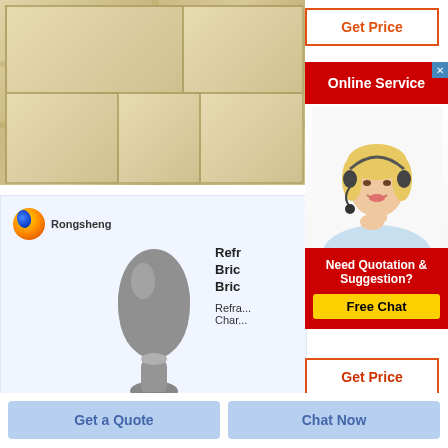[Figure (photo): Tan/beige stone or refractory brick blocks stacked together, showing corner joint]
[Figure (photo): Gray powder material in a teardrop/flame shape on white background, with Rongsheng logo in top left]
Get Price
Online Service
[Figure (photo): Female customer service operator with headset, smiling]
Refr... Bric... Bric...
Refra... Char...
Need Quotation & Suggestion?
Free Chat
Get Price
Get a Quote
Chat Now